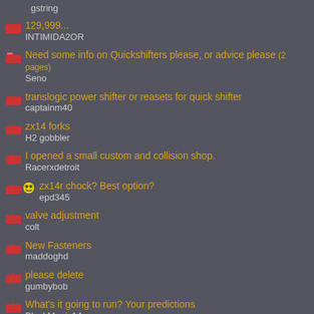gstring
129,999...
INTIMIDA2OR
Need some info on Quickshifters please, or advice please (2 pages)
Seno
translogic power shifter or reasets for quick shifter
captainm40
zx14 forks
H2 gobbler
I opened a small custom and collision shop.
Racerxdetroit
zx14r chock? Best option?
epd345
valve adjustment
colt
New Fasteners
maddoghd
please delete
gumbybob
What's it going to run? Your predictions
BlackMagic14
1st gen speed sensor mod...